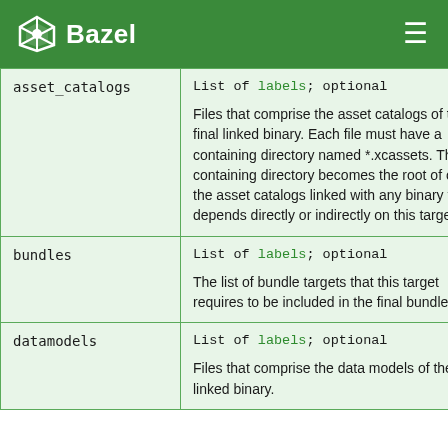Bazel
| Attribute | Description |
| --- | --- |
| asset_catalogs | List of labels; optional

Files that comprise the asset catalogs of the final linked binary. Each file must have a containing directory named *.xcassets. This containing directory becomes the root of one of the asset catalogs linked with any binary that depends directly or indirectly on this target. |
| bundles | List of labels; optional

The list of bundle targets that this target requires to be included in the final bundle. |
| datamodels | List of labels; optional

Files that comprise the data models of the final linked binary. |